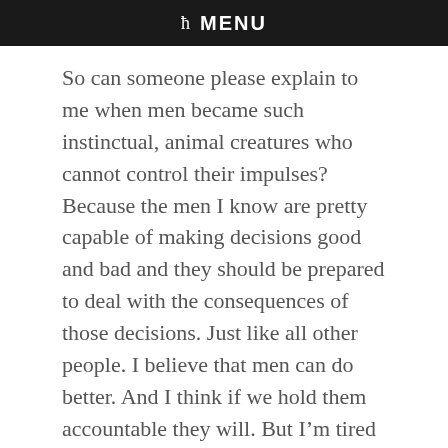ħ MENU
So can someone please explain to me when men became such instinctual, animal creatures who cannot control their impulses? Because the men I know are pretty capable of making decisions good and bad and they should be prepared to deal with the consequences of those decisions. Just like all other people. I believe that men can do better. And I think if we hold them accountable they will. But I'm tired of people trying to let them off the hook. And deflecting it toward the woman. The basic point of rape is this dude did a horrible thing, he should be held accountable. Same can be said for a woman who took advantage of a man. Rape goes both ways, you know. Clearly that is less commonly